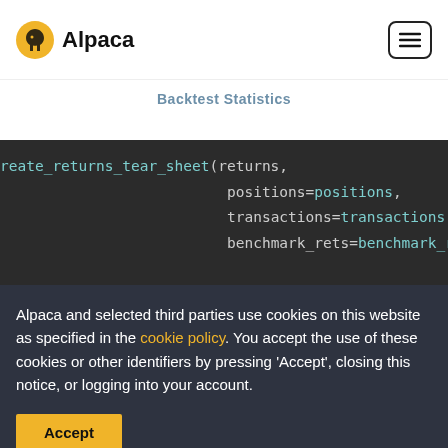Alpaca
Backtest Statistics
[Figure (screenshot): Code block on dark background showing: reate_returns_tear_sheet(returns, positions=positions, transactions=transactions, benchmark_rets=benchmark_retu]
Alpaca and selected third parties use cookies on this website as specified in the cookie policy. You accept the use of these cookies or other identifiers by pressing 'Accept', closing this notice, or logging into your account.
Accept